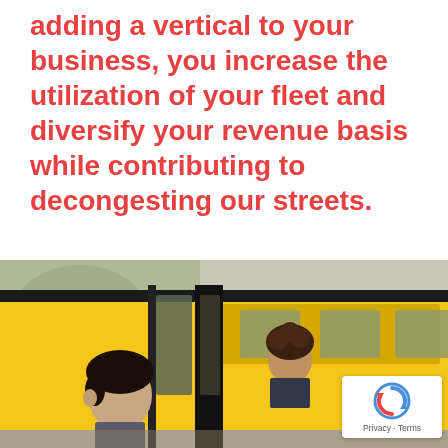adding a vertical to your business, you increase the utilization of your fleet and diversify your revenue basis while contributing to decongesting our streets.
[Figure (photo): Photo of students boarding a yellow school bus, shot from outside near the open door. Two children visible, one in foreground with dark hair. Yellow bus body and dark door frame prominent.]